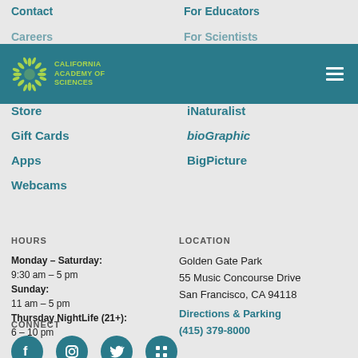Contact
For Educators
Careers
For Scientists
[Figure (logo): California Academy of Sciences logo with sunflower icon and teal navigation bar with hamburger menu]
Store
iNaturalist
Gift Cards
bioGraphic
Apps
BigPicture
Webcams
HOURS
LOCATION
Monday – Saturday:
9:30 am – 5 pm
Sunday:
11 am – 5 pm
Thursday NightLife (21+):
6 – 10 pm
Golden Gate Park
55 Music Concourse Drive
San Francisco, CA 94118
Directions & Parking
(415) 379-8000
CONNECT
[Figure (infographic): Four teal social media icon circles: Facebook, Instagram, Twitter, Grid/Apps]